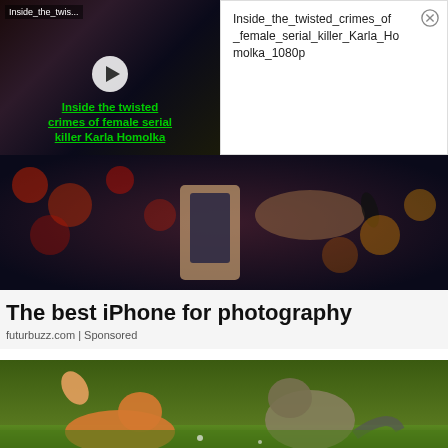[Figure (screenshot): Video thumbnail for 'Inside the twisted crimes of female serial killer Karla Homolka' with play button overlay and green text title on dark background]
Inside_the_twisted_crimes_of_female_serial_killer_Karla_Homolka_1080p
[Figure (photo): Strip photo showing hands holding a phone with bokeh lights in background]
The best iPhone for photography
futurbuzz.com | Sponsored
[Figure (photo): Two cats fighting/playing on grass - an orange cat with raised paw and a tabby cat in a defensive stance]